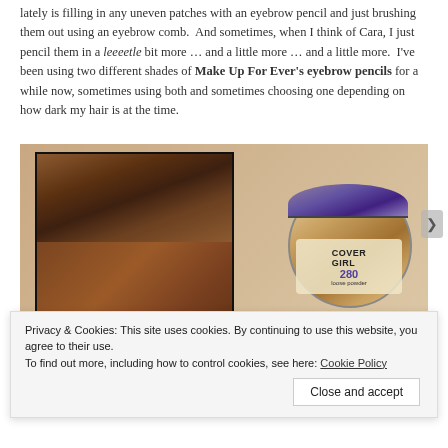lately is filling in any uneven patches with an eyebrow pencil and just brushing them out using an eyebrow comb.  And sometimes, when I think of Cara, I just pencil them in a leeeetle bit more … and a little more … and a little more.  I've been using two different shades of Make Up For Ever's eyebrow pencils for a while now, sometimes using both and sometimes choosing one depending on how dark my hair is at the time.
[Figure (photo): Photo of two makeup products: an open powder compact with brown powder (showing cracks) on the left, and a CoverGirl round jar/container (number 280) on the right, placed on a light surface.]
Privacy & Cookies: This site uses cookies. By continuing to use this website, you agree to their use.
To find out more, including how to control cookies, see here: Cookie Policy
Close and accept